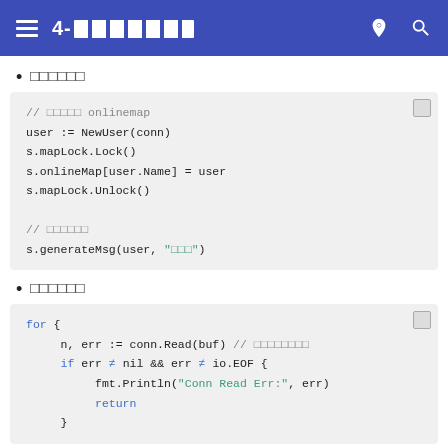4- (title with icons)
??????
// ?????? onlinemap
user := NewUser(conn)
s.mapLock.Lock()
s.onlineMap[user.Name] = user
s.mapLock.Unlock()

// ??????
s.generateMsg(user, "???")
??????
for {
    n, err := conn.Read(buf) // ????????
    if err != nil && err != io.EOF {
        fmt.Println("Conn Read Err:", err)
        return
    }